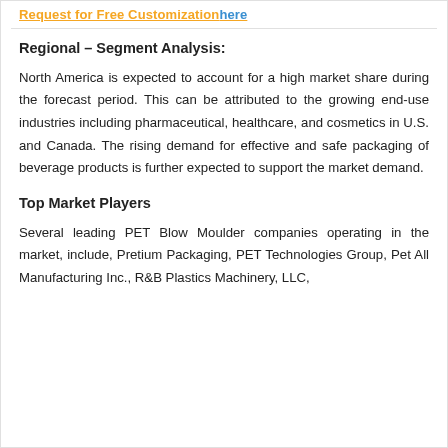Request for Free Customization here
Regional – Segment Analysis:
North America is expected to account for a high market share during the forecast period. This can be attributed to the growing end-use industries including pharmaceutical, healthcare, and cosmetics in U.S. and Canada. The rising demand for effective and safe packaging of beverage products is further expected to support the market demand.
Top Market Players
Several leading PET Blow Moulder companies operating in the market, include, Pretium Packaging, PET Technologies Group, Pet All Manufacturing Inc., R&B Plastics Machinery, LLC,